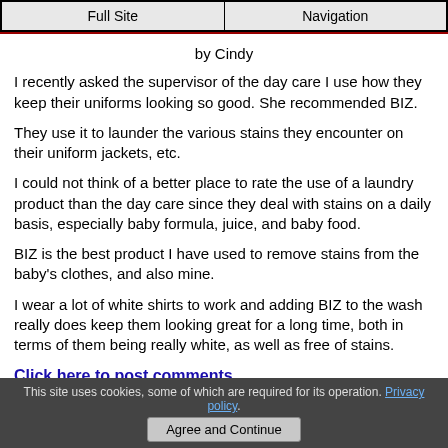Full Site | Navigation
by Cindy
I recently asked the supervisor of the day care I use how they keep their uniforms looking so good. She recommended BIZ.
They use it to launder the various stains they encounter on their uniform jackets, etc.
I could not think of a better place to rate the use of a laundry product than the day care since they deal with stains on a daily basis, especially baby formula, juice, and baby food.
BIZ is the best product I have used to remove stains from the baby's clothes, and also mine.
I wear a lot of white shirts to work and adding BIZ to the wash really does keep them looking great for a long time, both in terms of them being really white, as well as free of stains.
Click here to post comments
This site uses cookies, some of which are required for its operation. Privacy policy. Agree and Continue